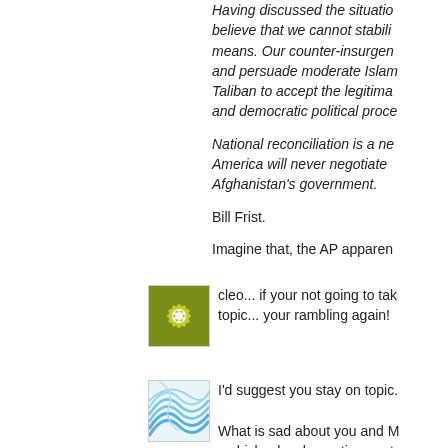Having discussed the situation... believe that we cannot stabilize by means. Our counter-insurgence and persuade moderate Islam Taliban to accept the legitimacy and democratic political proce...
National reconciliation is a ne... America will never negotiate Afghanistan's government.
Bill Frist.
Imagine that, the AP apparen...
[Figure (illustration): Green and white decorative floral/mandala avatar icon]
cleo... if your not going to tak topic... your rambling again!
[Figure (illustration): Blue and white wave/shell decorative avatar icon]
I'd suggest you stay on topic.
What is sad about you and M a chickenhawk roosting next...